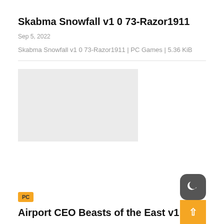Skabma Snowfall v1 0 73-Razor1911
Sep 5, 2022
Skabma Snowfall v1 0 73-Razor1911 | PC Games | 5.36 KiB
[Figure (other): Gray placeholder image rectangle]
[Figure (logo): PC badge in orange square]
Airport CEO Beasts of the East v1 0-40-
[Figure (other): Dark moon/night mode toggle button with crescent moon icon]
[Figure (other): Orange upward arrow scroll-to-top button]